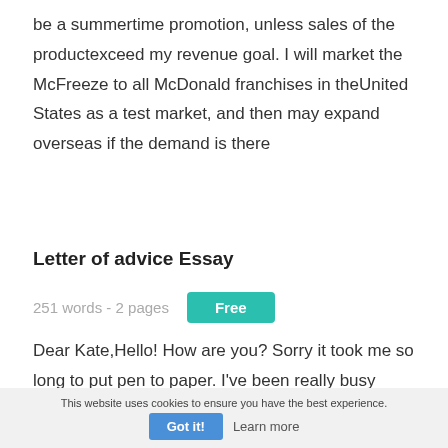be a summertime promotion, unless sales of the productexceed my revenue goal. I will market the McFreeze to all McDonald franchises in theUnited States as a test market, and then may expand overseas if the demand is there
Letter of advice Essay
251 words - 2 pages   Free
Dear Kate,Hello! How are you? Sorry it took me so long to put pen to paper. I've been really busy making
This website uses cookies to ensure you have the best experience.  Got it!  Learn more